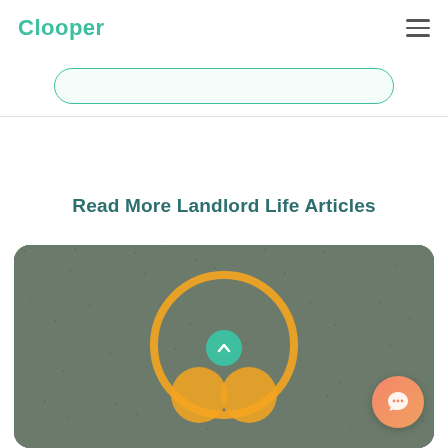Clooper
[Figure (screenshot): Search input box with rounded border in teal/green color on light background]
Read More Landlord Life Articles
[Figure (photo): Asphalt road surface with orange/yellow painted circle symbol, partially visible. A teal scroll-to-top button with an upward chevron icon is overlaid in the center, and an orange chat widget button is in the bottom right.]